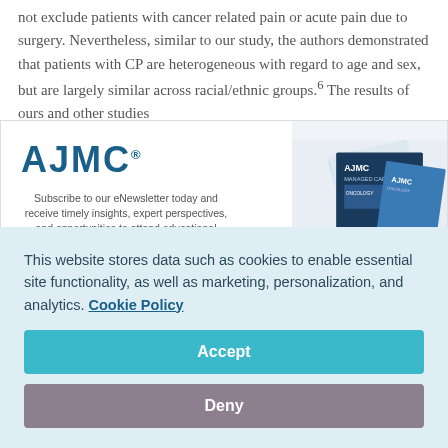not exclude patients with cancer related pain or acute pain due to surgery. Nevertheless, similar to our study, the authors demonstrated that patients with CP are heterogeneous with regard to age and sex, but are largely similar across racial/ethnic groups.6 The results of ours and other studies
[Figure (screenshot): AJMC newsletter subscription banner with logo, tagline, first/last name input fields, and magazine mockup images on the right side]
This website stores data such as cookies to enable essential site functionality, as well as marketing, personalization, and analytics. Cookie Policy
Accept
Deny